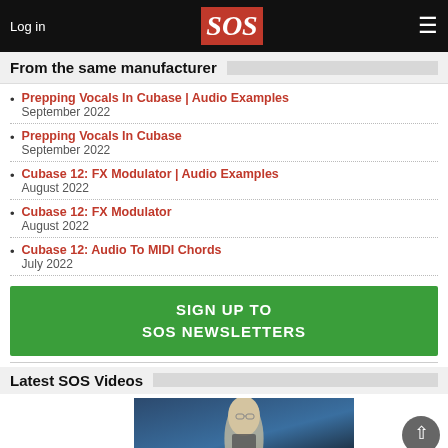Log in | SOS | Menu
From the same manufacturer
Prepping Vocals In Cubase | Audio Examples
September 2022
Prepping Vocals In Cubase
September 2022
Cubase 12: FX Modulator | Audio Examples
August 2022
Cubase 12: FX Modulator
August 2022
Cubase 12: Audio To MIDI Chords
July 2022
SIGN UP TO SOS NEWSLETTERS
Latest SOS Videos
[Figure (photo): Video thumbnail showing a person, part of Latest SOS Videos section]